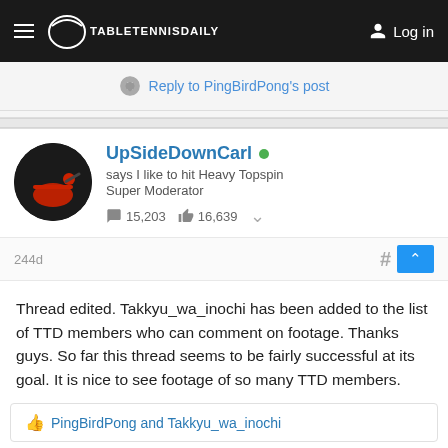TableTennisDaily — Log in
Reply to PingBirdPong's post
UpSideDownCarl • says I like to hit Heavy Topspin • Super Moderator • 15,203 messages • 16,639 likes
244d
Thread edited. Takkyu_wa_inochi has been added to the list of TTD members who can comment on footage. Thanks guys. So far this thread seems to be fairly successful at its goal. It is nice to see footage of so many TTD members.
PingBirdPong and Takkyu_wa_inochi